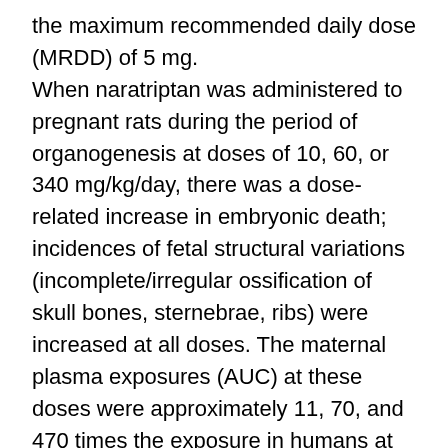the maximum recommended daily dose (MRDD) of 5 mg. When naratriptan was administered to pregnant rats during the period of organogenesis at doses of 10, 60, or 340 mg/kg/day, there was a dose-related increase in embryonic death; incidences of fetal structural variations (incomplete/irregular ossification of skull bones, sternebrae, ribs) were increased at all doses. The maternal plasma exposures (AUC) at these doses were approximately 11, 70, and 470 times the exposure in humans at the MRDD. The high dose was maternally toxic, as evidenced by decreased maternal body weight gain during gestation. A no-effect dose for developmental toxicity in rats